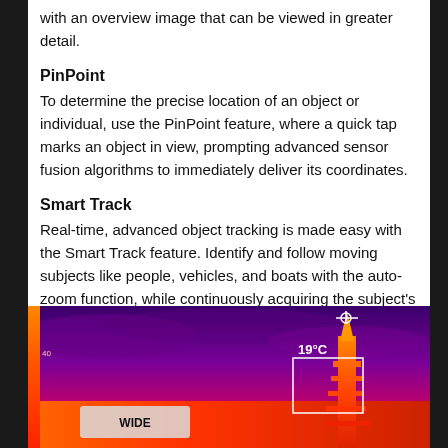with an overview image that can be viewed in greater detail.
PinPoint
To determine the precise location of an object or individual, use the PinPoint feature, where a quick tap marks an object in view, prompting advanced sensor fusion algorithms to immediately deliver its coordinates.
Smart Track
Real-time, advanced object tracking is made easy with the Smart Track feature. Identify and follow moving subjects like people, vehicles, and boats with the auto-zoom function, while continuously acquiring the subject's dynamic location.
[Figure (photo): Thermal infrared camera view showing a scene with purple/magenta sky, a structure or tower in orange/red tones on the right with a crosshair targeting reticle and temperature reading of 19°C, and a 'WIDE' label button overlay on the left side.]